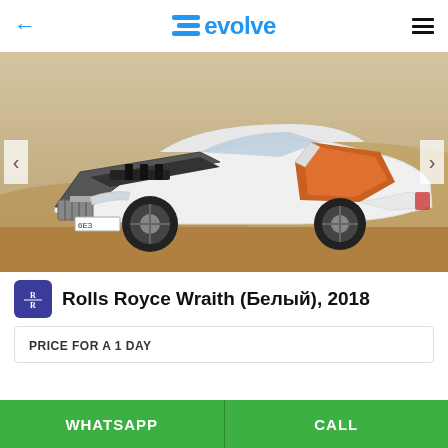← evolve ≡
[Figure (photo): White Rolls Royce Wraith with hood open and rear door open showing orange interior, parked on a sandy desert background.]
Rolls Royce Wraith (Белый), 2018
PRICE FOR A 1 DAY
WHATSAPP
CALL